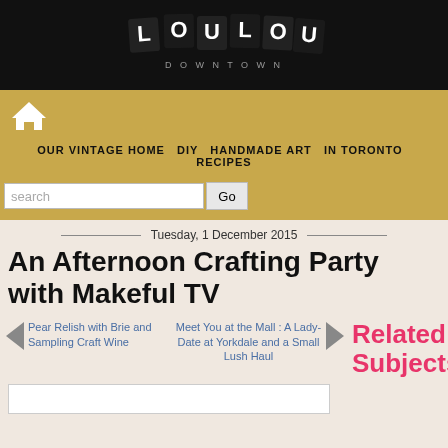[Figure (logo): LouLou Downtown blog logo — white letter tiles spelling LOULOU on black background with DOWNTOWN text below]
OUR VINTAGE HOME DIY HANDMADE ART IN TORONTO RECIPES
search   Go
Tuesday, 1 December 2015
An Afternoon Crafting Party with Makeful TV
Pear Relish with Brie and Sampling Craft Wine
Meet You at the Mall : A Lady-Date at Yorkdale and a Small Lush Haul
Related Subjects